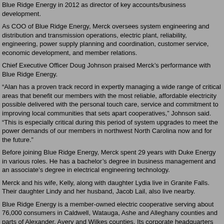Blue Ridge Energy in 2012 as director of key accounts/business development.
As COO of Blue Ridge Energy, Merck oversees system engineering and distribution and transmission operations, electric plant, reliability, engineering, power supply planning and coordination, customer service, economic development, and member relations.
Chief Executive Officer Doug Johnson praised Merck’s performance with Blue Ridge Energy.
“Alan has a proven track record in expertly managing a wide range of critical areas that benefit our members with the most reliable, affordable electricity possible delivered with the personal touch care, service and commitment to improving local communities that sets apart cooperatives,” Johnson said. “This is especially critical during this period of system upgrades to meet the power demands of our members in northwest North Carolina now and for the future.”
Before joining Blue Ridge Energy, Merck spent 29 years with Duke Energy in various roles. He has a bachelor’s degree in business management and an associate’s degree in electrical engineering technology.
Merck and his wife, Kelly, along with daughter Lydia live in Granite Falls. Their daughter Lindy and her husband, Jacob Lail, also live nearby.
Blue Ridge Energy is a member-owned electric cooperative serving about 76,000 consumers in Caldwell, Watauga, Ashe and Alleghany counties and parts of Alexander, Avery and Wilkes counties. Its corporate headquarters are in Lenoir.
Merck currently serves as Vice-Chairman for the EDC Board of Directors. Comments are closed.